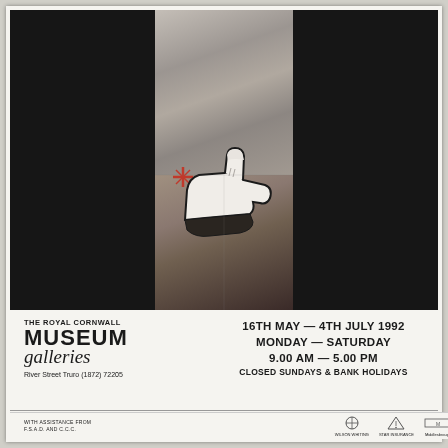[Figure (photo): Exhibition poster artwork: black background with a central vertical strip showing a textured mixed-media artwork featuring a pointing hand/finger motif in white and black with brown tones, a red cross/star symbol, on a mottled grey-brown background.]
THE ROYAL CORNWALL
MUSEUM galleries
River Street  Truro  (1872) 72205
16th MAY — 4th JULY 1992
MONDAY — SATURDAY
9.00 am — 5.00 pm
CLOSED SUNDAYS & BANK HOLIDAYS
WITH ASSISTANCE FROM F.S.A.D. AND C.C.C.